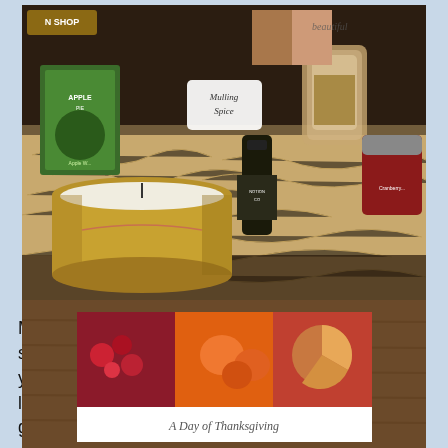[Figure (photo): A gift basket/box filled with various Texas specialty items including a candle in a gold tin, a jar of mulling spice, Apple Pie mix box, a dark bottle, granola jar, jam jar, and shredded paper filler.]
My Texas Market is a subscription box featuring local specialty goods from the state of Texas. Each month you'll get a box packed with various small-batch, locally made food items, beauty products, & home goods.
[Figure (photo): A card or booklet labeled 'A Day of Thanksgiving' on a rustic wooden surface, with images of autumn harvest foods including cranberries, apples, and a pie.]